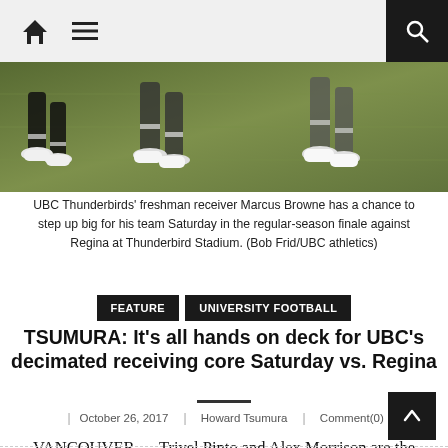Home | Menu | Search
[Figure (photo): Photo of football players' legs and cleats on a turf field during a game.]
UBC Thunderbirds' freshman receiver Marcus Browne has a chance to step up big for his team Saturday in the regular-season finale against Regina at Thunderbird Stadium. (Bob Frid/UBC athletics)
FEATURE   UNIVERSITY FOOTBALL
TSUMURA: It’s all hands on deck for UBC’s decimated receiving core Saturday vs. Regina
October 26, 2017   Howard Tsumura   Comment(0)
VANCOUVER — Trivel Pinto and Alex Morrison are the veterans who know their time is now.